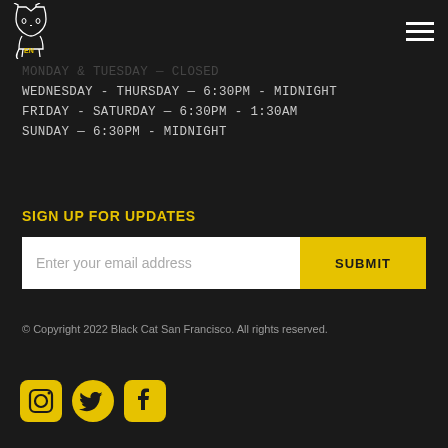[Figure (logo): Black Cat logo: white line-art cat silhouette on dark background, with 'EN' text]
MONDAY & TUESDAY — CLOSED
WEDNESDAY - THURSDAY — 6:30PM - MIDNIGHT
FRIDAY - SATURDAY — 6:30PM - 1:30AM
SUNDAY — 6:30PM - MIDNIGHT
SIGN UP FOR UPDATES
Enter your email address [input field] SUBMIT [button]
© Copyright 2022 Black Cat San Francisco. All rights reserved.
[Figure (logo): Social media icons: Instagram, Twitter, Facebook in yellow rounded square style]